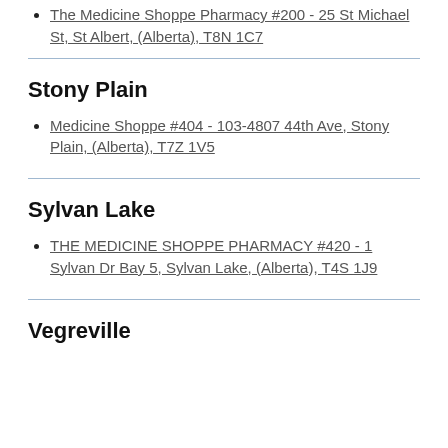The Medicine Shoppe Pharmacy #200 - 25 St Michael St, St Albert, (Alberta), T8N 1C7
Stony Plain
Medicine Shoppe #404 - 103-4807 44th Ave, Stony Plain, (Alberta), T7Z 1V5
Sylvan Lake
THE MEDICINE SHOPPE PHARMACY #420 - 1 Sylvan Dr Bay 5, Sylvan Lake, (Alberta), T4S 1J9
Vegreville